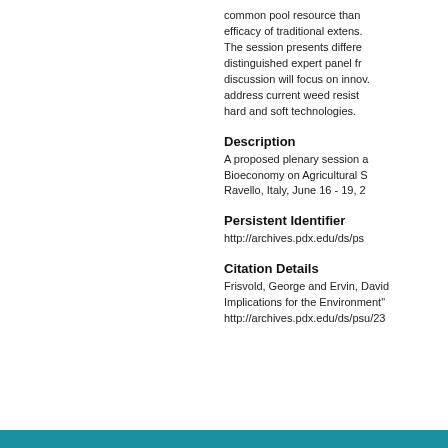common pool resource than efficacy of traditional extens. The session presents distinguished expert panel fr. discussion will focus on innov. address current weed resista. hard and soft technologies.
Description
A proposed plenary session a. Bioeconomy on Agricultural S. Ravello, Italy, June 16 - 19, 2
Persistent Identifier
http://archives.pdx.edu/ds/ps
Citation Details
Frisvold, George and Ervin, David Implications for the Environment" http://archives.pdx.edu/ds/psu/23